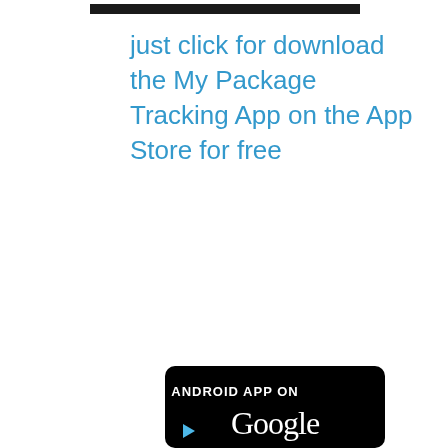[Figure (screenshot): Top portion of a dark rounded-rectangle button, cropped at the top edge of the page]
just click for download the My Package Tracking App on the App Store for free
[Figure (screenshot): Google Play Store badge showing 'ANDROID APP ON Google Play' with a dark rounded-rectangle background, partially cropped at the bottom of the page]